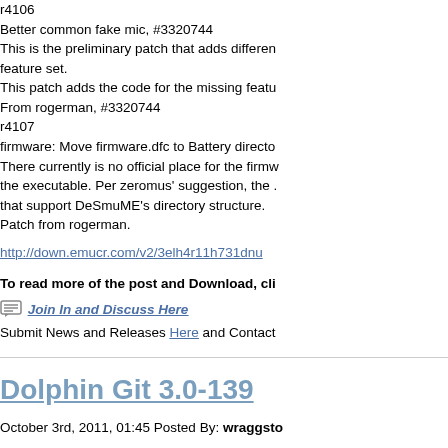r4106
Better common fake mic, #3320744
This is the preliminary patch that adds different feature set.
This patch adds the code for the missing featu...
From rogerman, #3320744
r4107
firmware: Move firmware.dfc to Battery directo...
There currently is no official place for the firmw... the executable. Per zeromus' suggestion, the ... that support DeSmuME's directory structure.
Patch from rogerman.
http://down.emucr.com/v2/3elh4r11h731dnu
To read more of the post and Download, cli...
Join In and Discuss Here
Submit News and Releases Here and Contact...
Dolphin Git 3.0-139
October 3rd, 2011, 01:45 Posted By: wraggsto...
Dolphin Git 3.0-139 is released. This is the tru... commercial games! Dolphin is a great Gamecu... Gamecube games. Dolphin has been changed...